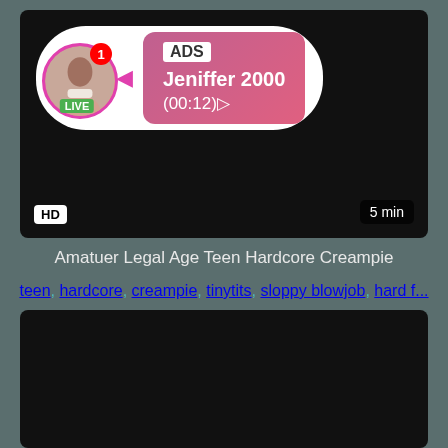[Figure (screenshot): Video thumbnail showing dark/black background with a live stream advertisement overlay. Shows a profile picture of a person, LIVE badge, ADS label, username Jeniffer 2000, timer (00:12), HD badge bottom left, 5 min duration bottom right.]
Amatuer Legal Age Teen Hardcore Creampie
teen, hardcore, creampie, tinytits, sloppy blowjob, hard f...
[Figure (screenshot): Second video thumbnail, dark/black background, partially visible.]